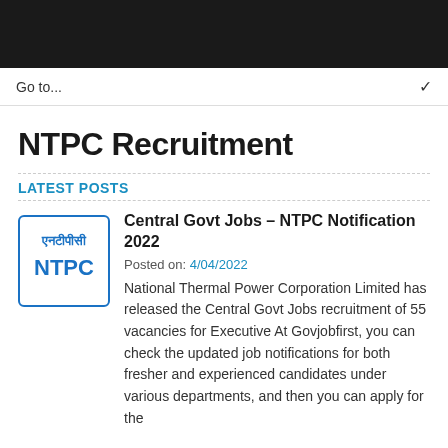Go to...
NTPC Recruitment
LATEST POSTS
Central Govt Jobs – NTPC Notification 2022
Posted on: 4/04/2022
National Thermal Power Corporation Limited has released the Central Govt Jobs recruitment of 55 vacancies for Executive At Govjobfirst, you can check the updated job notifications for both fresher and experienced candidates under various departments, and then you can apply for the